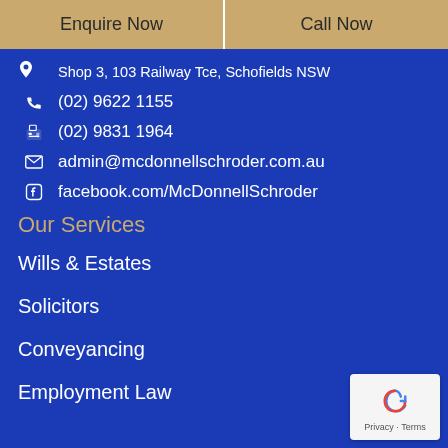Enquire Now
Call Now
Shop 3, 103 Railway Tce, Schofields NSW
(02) 9622 1155
(02) 9831 1964
admin@mcdonnellschroder.com.au
facebook.com/McDonnellSchroder
Our Services
Wills & Estates
Solicitors
Conveyancing
Employment Law